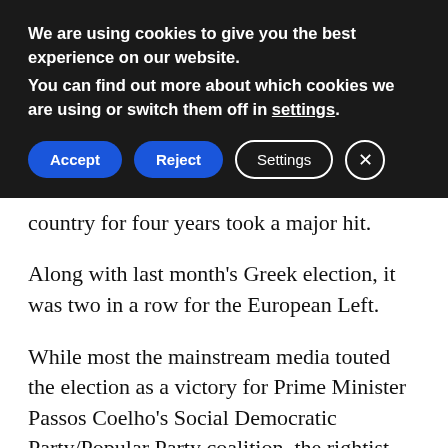We are using cookies to give you the best experience on our website.
You can find out more about which cookies we are using or switch them off in settings.
country for four years took a major hit.
Along with last month's Greek election, it was two in a row for the European Left.
While most the mainstream media touted the election as a victory for Prime Minister Passos Coelho's Social Democratic Party/Popular Party coalition, the rightist alliance dropped from 50.4 percent in the